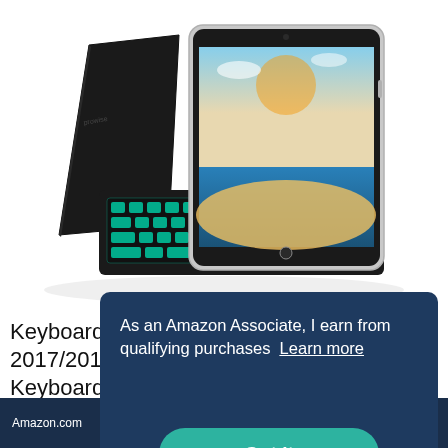[Figure (photo): iPad with keyboard case (backlit Bluetooth keyboard) open on a stand, in black, displaying a beach/ocean scene on screen. Product photo on white background.]
Keyboard case for iPad 5th/6th Generation 2017/2018, 9.7 Inch iPad Air 2 Case with Keyboard, Removable Wireless Backlit Keyboard Smart Slim Shell Stand Cover Perfect...
As an Amazon Associate, I earn from qualifying purchases  Learn more
Got it
Amazon.com